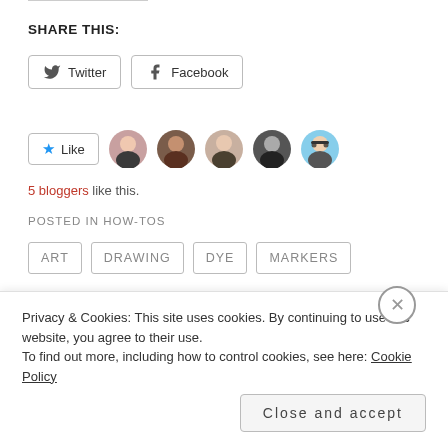SHARE THIS:
[Figure (screenshot): Twitter and Facebook share buttons]
[Figure (screenshot): Like button with 5 blogger avatar photos]
5 bloggers like this.
POSTED IN HOW-TOS
ART
DRAWING
DYE
MARKERS
ZENTANGLE
Privacy & Cookies: This site uses cookies. By continuing to use this website, you agree to their use.
To find out more, including how to control cookies, see here: Cookie Policy
Close and accept